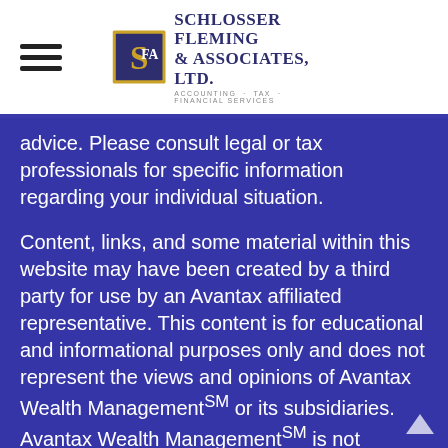Schlosser Fleming & Associates, Ltd. — Accounting · Tax · Financial Services
advice. Please consult legal or tax professionals for specific information regarding your individual situation.
Content, links, and some material within this website may have been created by a third party for use by an Avantax affiliated representative. This content is for educational and informational purposes only and does not represent the views and opinions of Avantax Wealth ManagementSM or its subsidiaries. Avantax Wealth ManagementSM is not responsible for and does not control, adopt, or endorse any content contained on any third party website.